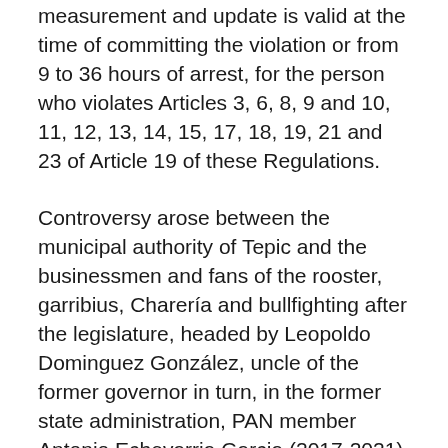measurement and update is valid at the time of committing the violation or from 9 to 36 hours of arrest, for the person who violates Articles 3, 6, 8, 9 and 10, 11, 12, 13, 14, 15, 17, 18, 19, 21 and 23 of Article 19 of these Regulations.
Controversy arose between the municipal authority of Tepic and the businessmen and fans of the rooster, garribius, Charería and bullfighting after the legislature, headed by Leopoldo Dominguez González, uncle of the former governor in turn, in the former state administration, PAN member Antonio Echevarria Garcia (2017-2021) approved a decree In 2019, he was sent by his nephew, declaring cockfighting and bullfighting an intangible cultural heritage, thus protecting